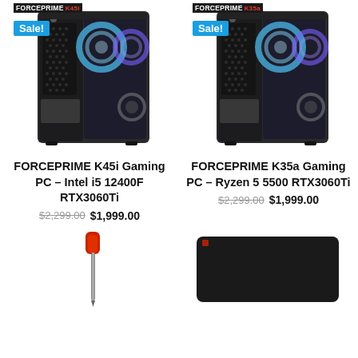[Figure (photo): FORCEPRIME K45i gaming PC case with RGB fans, Sale badge overlay, black mid-tower]
[Figure (photo): FORCEPRIME K35a gaming PC case with RGB fans, Sale badge overlay, black mid-tower]
FORCEPRIME K45i Gaming PC – Intel i5 12400F RTX3060Ti
FORCEPRIME K35a Gaming PC – Ryzen 5 5500 RTX3060Ti
$2,299.00 $1,999.00
$2,299.00 $1,999.00
[Figure (photo): Red and silver screwdriver tool accessory]
[Figure (photo): Black rectangular mouse pad or desk mat]